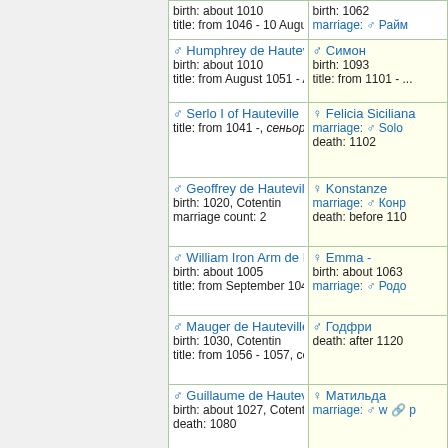| Person (left) | Person (right) |
| --- | --- |
| ♂ Humphrey de Hauteville
birth: about 1010
title: from August 1051 - A | ♂ Симон
birth: 1093
title: from 1101 - ... |
| ♂ Serlo I of Hauteville
title: from 1041 -, сеньор | ♀ Felicia Siciliana
marriage: ♂ Solo...
death: 1102 |
| ♂ Geoffrey de Hauteville
birth: 1020, Cotentin
marriage count: 2 | ♀ Konstanze
marriage: ♂ Конр...
death: before 110 |
| ♂ William Iron Arm de Ha...
birth: about 1005
title: from September 104 | ♀ Emma -
birth: about 1063
marriage: ♂ Родо |
| ♂ Mauger de Hauteville
birth: 1030, Cotentin
title: from 1056 - 1057, co | ♂ Годфри
death: after 1120 |
| ♂ Guillaume de Hauteville
birth: about 1027, Cotenti
death: 1080 | ♀ Матильда
marriage: ♂ w ... р...
 |
| ♂ Alfred de Hauteville | ♀ Сибилла |
| ♂ Hubert de Hauteville | ♀ Violante de Ha... |